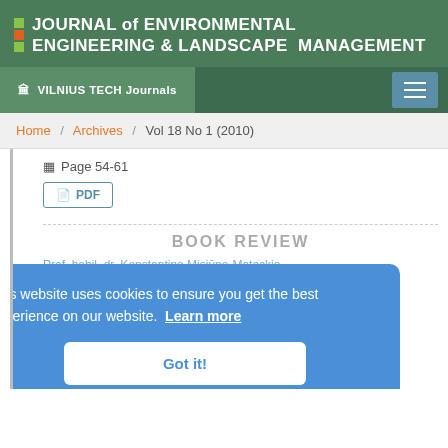JOURNAL of ENVIRONMENTAL ENGINEERING & LANDSCAPE MANAGEMENT
VILNIUS TECH Journals
Home / Archives / Vol 18 No 1 (2010)
Page 54-61
PDF
BOOK REVIEW
Prof. habil. dr. Konstantino Misiūno-Mateckio monografija. Miesto kraštovaizdžio architektūra
Tainutis [author]
Abstract · 2 [full] PDF Downloads · 35
This website uses cookies to ensure you get the best experience on our website. Learn more
Got it!